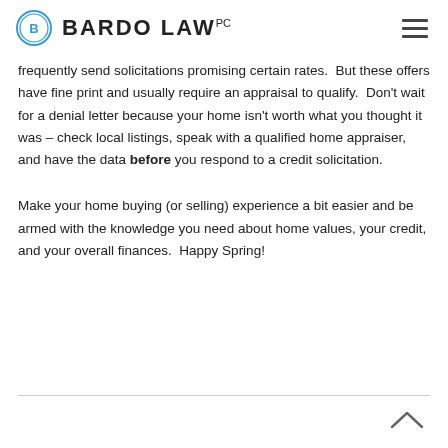BARDO LAW PC
frequently send solicitations promising certain rates.  But these offers have fine print and usually require an appraisal to qualify.  Don't wait for a denial letter because your home isn't worth what you thought it was – check local listings, speak with a qualified home appraiser, and have the data before you respond to a credit solicitation.
Make your home buying (or selling) experience a bit easier and be armed with the knowledge you need about home values, your credit, and your overall finances.  Happy Spring!